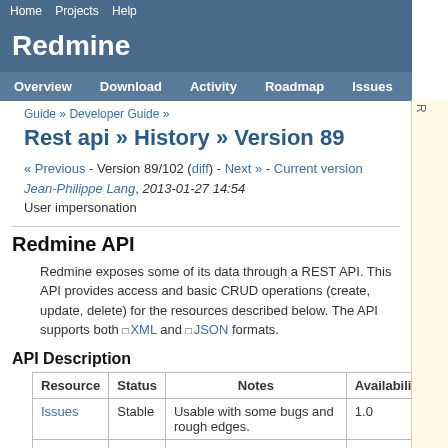Home  Projects  Help
Redmine
Overview  Download  Activity  Roadmap  Issues  News  W
Guide » Developer Guide »
Rest api » History » Version 89
« Previous - Version 89/102 (diff) - Next » - Current version Jean-Philippe Lang,  2013-01-27 14:54
User impersonation
Redmine API
Redmine exposes some of its data through a REST API. This API provides access and basic CRUD operations (create, update, delete) for the resources described below. The API supports both □ XML and □ JSON formats.
API Description
| Resource | Status | Notes | Availability |
| --- | --- | --- | --- |
| Issues | Stable | Usable with some bugs and rough edges. | 1.0 |
| Projects | Stable | Usable with some bugs and rough edges. | 1.0 |